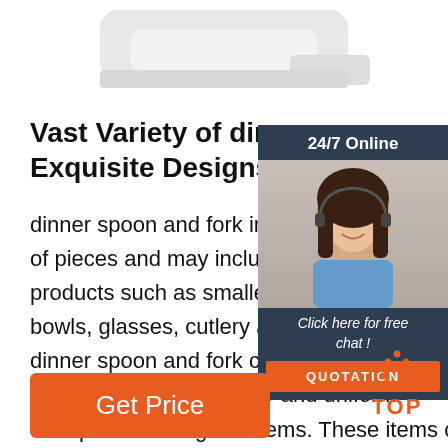[Figure (photo): Product image of white dinner utensils/appliance partially cropped at top]
Vast Variety of dinner spoon and Exquisite Designs ...
dinner spoon and fork include a different number of pieces and may include a wide range of products such as smaller and bigger plates, bowls, glasses, cutlery and serving spoons. dinner spoon and fork come in well-thought-out designs that are uniquely and uniformly transposed through all items. These items come in a wide range of colors, shapes ...
[Figure (photo): Chat widget overlay showing woman with headset, 24/7 Online header, Click here for free chat text, and QUOTATION orange button]
[Figure (other): TOP navigation button with orange dotted triangle above TOP text]
Get Price